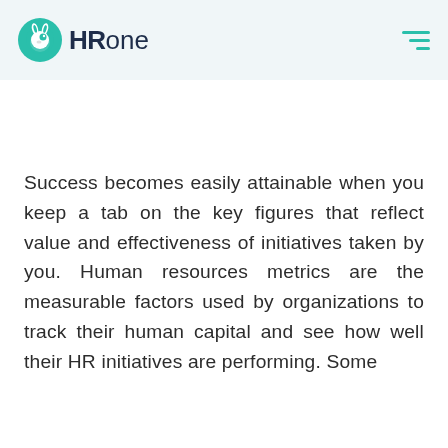[Figure (logo): HRone logo with teal rabbit/chameleon icon and bold HR plus light 'one' text in dark navy]
Success becomes easily attainable when you keep a tab on the key figures that reflect value and effectiveness of initiatives taken by you. Human resources metrics are the measurable factors used by organizations to track their human capital and see how well their HR initiatives are performing. Some